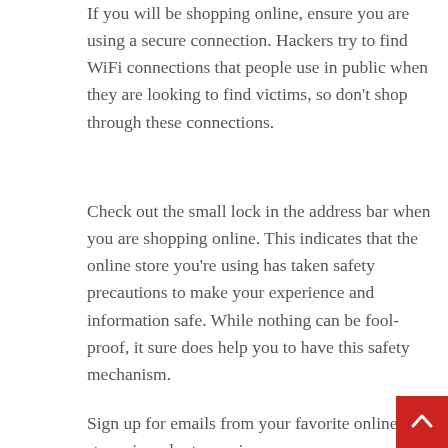If you will be shopping online, ensure you are using a secure connection. Hackers try to find WiFi connections that people use in public when they are looking to find victims, so don't shop through these connections.
Check out the small lock in the address bar when you are shopping online. This indicates that the online store you're using has taken safety precautions to make your experience and information safe. While nothing can be fool-proof, it sure does help you to have this safety mechanism.
Sign up for emails from your favorite online stores in order to receive money-